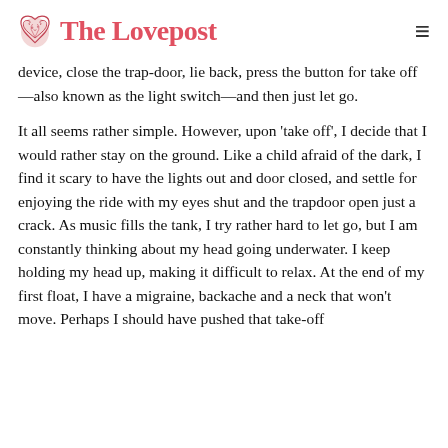The Lovepost
device, close the trap-door, lie back, press the button for take off—also known as the light switch—and then just let go.
It all seems rather simple. However, upon 'take off', I decide that I would rather stay on the ground. Like a child afraid of the dark, I find it scary to have the lights out and door closed, and settle for enjoying the ride with my eyes shut and the trapdoor open just a crack. As music fills the tank, I try rather hard to let go, but I am constantly thinking about my head going underwater. I keep holding my head up, making it difficult to relax. At the end of my first float, I have a migraine, backache and a neck that won't move. Perhaps I should have pushed that take-off